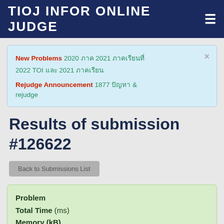TIOJ INFOR ONLINE JUDGE
New Problems 2020 ภาค 2021 ภาคเรียนที่ 2022 TOI และ 2021 ภาคเรียน
Rejudge Announcement 1877 ปัญหา & rejudge
Results of submission #126622
Back to Submissions List
Problem
Total Time (ms)
Memory (kB)